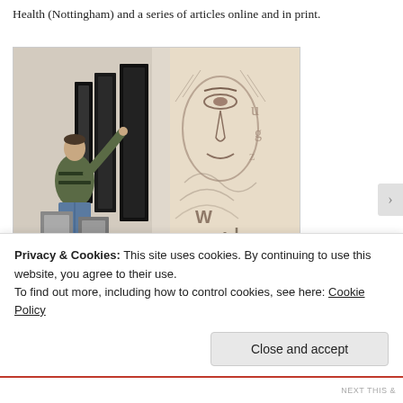Health (Nottingham) and a series of articles online and in print.
[Figure (photo): A man hanging framed artworks on a white gallery wall; on the right side a close-up of a detailed sketch/painting of a face]
Putting up the show. Photo by Bill Mudge
Privacy & Cookies: This site uses cookies. By continuing to use this website, you agree to their use.
To find out more, including how to control cookies, see here: Cookie Policy
Close and accept